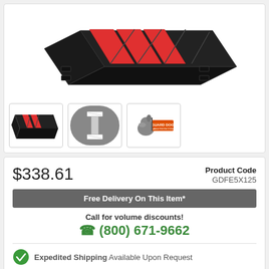[Figure (photo): Main product image of Guard Dog cable protector — black rubber ramp with red lid panels, showing multiple cable channels, viewed from an angle.]
[Figure (photo): Thumbnail 1: side view of cable protector with red lid.]
[Figure (photo): Thumbnail 2: cross-section diagram of cable protector channel on grey circular background.]
[Figure (logo): Thumbnail 3: Guard Dog Cable Protectors logo — bulldog with orange badge sign.]
$338.61
Product Code GDFE5X125
Free Delivery On This Item*
Call for volume discounts!
(800) 671-9662
Expedited Shipping Available Upon Request